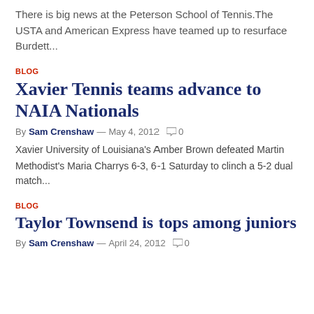There is big news at the Peterson School of Tennis.The USTA and American Express have teamed up to resurface Burdett...
BLOG
Xavier Tennis teams advance to NAIA Nationals
By Sam Crenshaw — May 4, 2012   0
Xavier University of Louisiana's Amber Brown defeated Martin Methodist's Maria Charrys 6-3, 6-1 Saturday to clinch a 5-2 dual match...
BLOG
Taylor Townsend is tops among juniors
By Sam Crenshaw — April 24, 2012   0